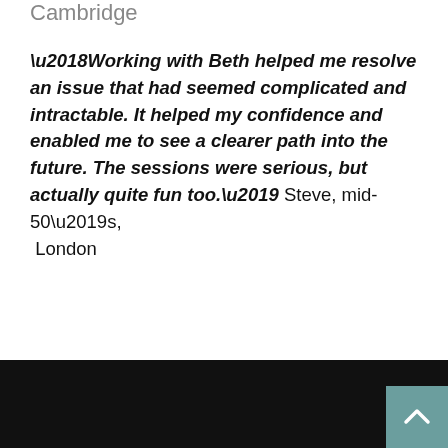Cambridge
‘Working with Beth helped me resolve an issue that had seemed complicated and intractable. It helped my confidence and enabled me to see a clearer path into the future. The sessions were serious, but actually quite fun too.’ Steve, mid-50’s, London